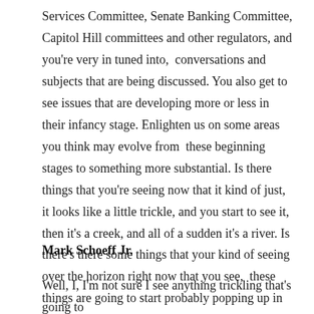Services Committee, Senate Banking Committee, Capitol Hill committees and other regulators, and you're very in tuned into,  conversations and subjects that are being discussed. You also get to see issues that are developing more or less in their infancy stage. Enlighten us on some areas you think may evolve from  these beginning stages to something more substantial. Is there things that you're seeing now that it kind of just, it looks like a little trickle, and you start to see it, then it's a creek, and all of a sudden it's a river. Is  there's there some things that your kind of seeing over the horizon right now that you see,  these things are going to start probably popping up in the next six months or a year...
Mark Schoeff Jr.
Well, I, I'm not sure I see anything trickling that's going to